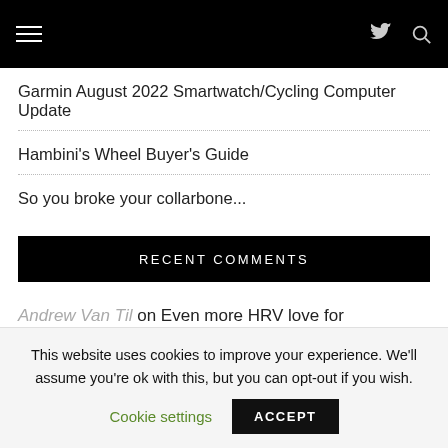≡  🐦  🔍
Garmin August 2022 Smartwatch/Cycling Computer Update
Hambini's Wheel Buyer's Guide
So you broke your collarbone...
RECENT COMMENTS
Andrew Van Til on Even more HRV love for
This website uses cookies to improve your experience. We'll assume you're ok with this, but you can opt-out if you wish.
Cookie settings   ACCEPT